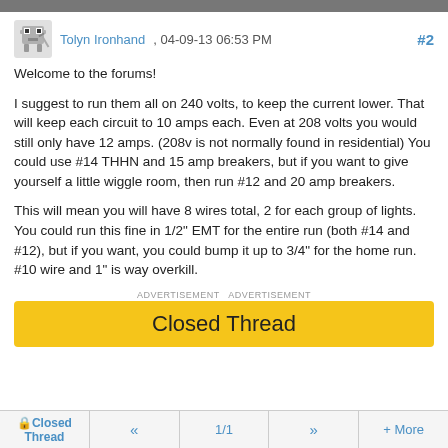Tolyn Ironhand , 04-09-13 06:53 PM  #2
Welcome to the forums!

I suggest to run them all on 240 volts, to keep the current lower. That will keep each circuit to 10 amps each. Even at 208 volts you would still only have 12 amps. (208v is not normally found in residential) You could use #14 THHN and 15 amp breakers, but if you want to give yourself a little wiggle room, then run #12 and 20 amp breakers.

This will mean you will have 8 wires total, 2 for each group of lights. You could run this fine in 1/2" EMT for the entire run (both #14 and #12), but if you want, you could bump it up to 3/4" for the home run. #10 wire and 1" is way overkill.
Closed Thread
Closed Thread  «  1/1  »  + More